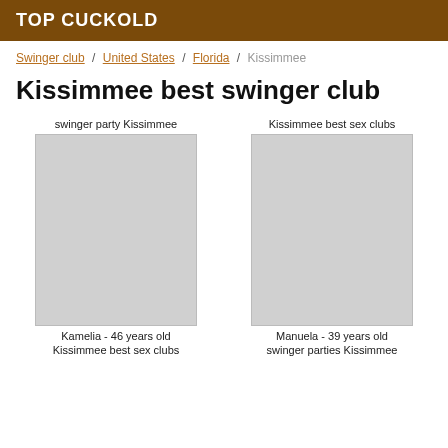TOP CUCKOLD
Swinger club / United States / Florida / Kissimmee
Kissimmee best swinger club
swinger party Kissimmee
Kissimmee best sex clubs
Kamelia - 46 years old
Manuela - 39 years old
Kissimmee best sex clubs
swinger parties Kissimmee